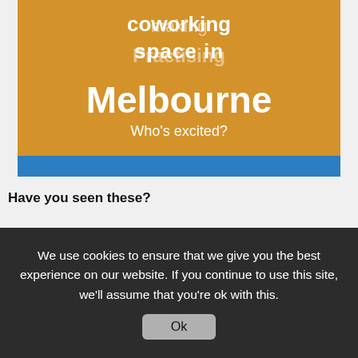[Figure (screenshot): Orange/gold banner with overlapping white text reading 'coworking space in Melbourne' layered over 'making Practising', with subtitle 'Who's excited?' and a blue bar below]
Have you seen these?
We use cookies to ensure that we give you the best experience on our website. If you continue to use this site, we'll assume that you're ok with this.
Ok